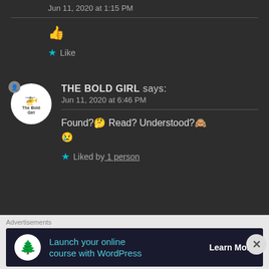Jun 11, 2020 at 1:15 PM
👍
★ Like
THE BOLD GIRL says:
Jun 11, 2020 at 6:46 PM
Found?🤔 Read? Understood?🙈
😢
★ Liked by 1 person
Advertisements
Launch your online course with WordPress Learn More